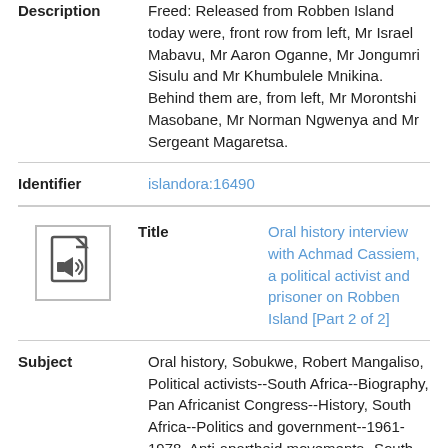| Field | Value |
| --- | --- |
| Description | Freed: Released from Robben Island today were, front row from left, Mr Israel Mabavu, Mr Aaron Oganne, Mr Jongumri Sisulu and Mr Khumbulele Mnikina. Behind them are, from left, Mr Morontshi Masobane, Mr Norman Ngwenya and Mr Sergeant Magaretsa. |
| Identifier | islandora:16490 |
| Title | Oral history interview with Achmad Cassiem, a political activist and prisoner on Robben Island [Part 2 of 2] |
| Subject | Oral history, Sobukwe, Robert Mangaliso, Political activists--South Africa--Biography, Pan Africanist Congress--History, South Africa--Politics and government--1961-1978, Anti-apartheid movements--South Africa, History, Government |